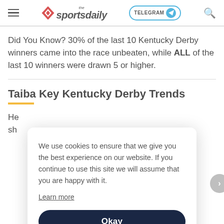the sportsdaily — TELEGRAM — search
Did You Know? 30% of the last 10 Kentucky Derby winners came into the race unbeaten, while ALL of the last 10 winners were drawn 5 or higher.
Taiba Key Kentucky Derby Trends
He sh
We use cookies to ensure that we give you the best experience on our website. If you continue to use this site we will assume that you are happy with it. Learn more Okay